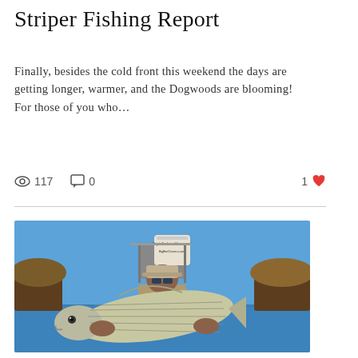Striper Fishing Report
Finally, besides the cold front this weekend the days are getting longer, warmer, and the Dogwoods are blooming! For those of you who…
👁 117   💬 0   1 ❤
[Figure (photo): A fisherman wearing a baseball cap and sunglasses holds up a large striped bass fish on a boat. In the background there is a blue sky, water, and wooded shoreline. A bucket with text reading 'Capt. Andrew Hammond BigBiteCharters.com' is visible.]